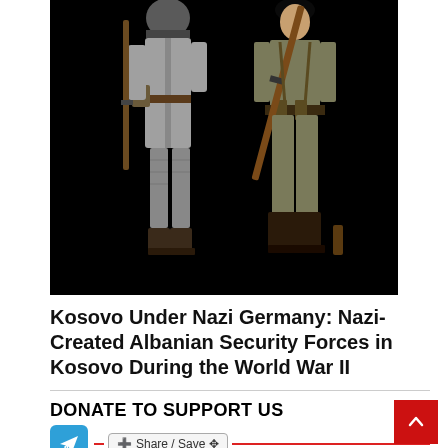[Figure (illustration): Two WWII-era soldiers in military uniforms holding rifles, illustrated against a black background. Left figure wears a long coat and wrapped leg coverings; right figure wears standard military trousers and boots with full kit.]
Kosovo Under Nazi Germany: Nazi-Created Albanian Security Forces in Kosovo During the World War II
DONATE TO SUPPORT US
We would like to ask you to consider a small donation to help us to keep running...